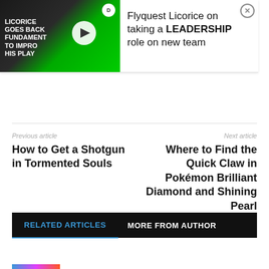[Figure (screenshot): Video thumbnail showing a person with text 'LICORICE GOES BACK FUNDAMENTALS TO IMPROVE HIS PLAY' on a green background with a play button]
Flyquest Licorice on taking a LEADERSHIP role on new team
Previous article
How to Get a Shotgun in Tormented Souls
Next article
Where to Find the Quick Claw in Pokémon Brilliant Diamond and Shining Pearl
RELATED ARTICLES
MORE FROM AUTHOR